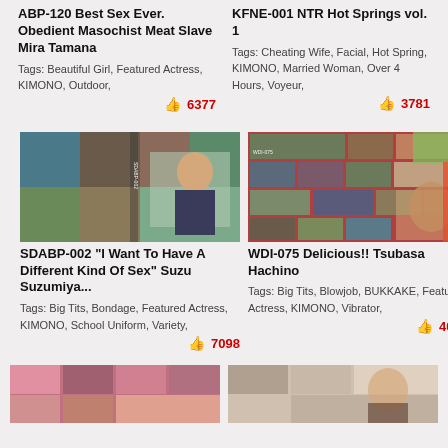ABP-120 Best Sex Ever. Obedient Masochist Meat Slave Mira Tamana
Tags: Beautiful Girl, Featured Actress, KIMONO, Outdoor,
6377
KFNE-001 NTR Hot Springs vol. 1
Tags: Cheating Wife, Facial, Hot Spring, KIMONO, Married Woman, Over 4 Hours, Voyeur,
3781
[Figure (photo): DVD cover for SDABP-002]
[Figure (photo): DVD cover for WDI-075]
SDABP-002 "I Want To Have A Different Kind Of Sex" Suzu Suzumiya...
Tags: Big Tits, Bondage, Featured Actress, KIMONO, School Uniform, Variety,
7098
WDI-075 Delicious!! Tsubasa Hachino
Tags: Big Tits, Blowjob, BUKKAKE, Featured Actress, KIMONO, Vibrator,
4003
[Figure (photo): DVD cover thumbnail bottom left]
[Figure (photo): DVD cover thumbnail bottom right]